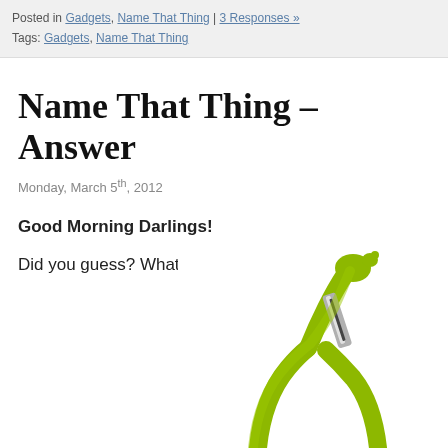Posted in Gadgets, Name That Thing | 3 Responses »
Tags: Gadgets, Name That Thing
Name That Thing – Answer
Monday, March 5th, 2012
Good Morning Darlings!
Did you guess? What is this thing?
[Figure (photo): A lime green vegetable/fruit peeler with a Y-shaped handle and a metal double-blade peeling head, photographed against a white background]